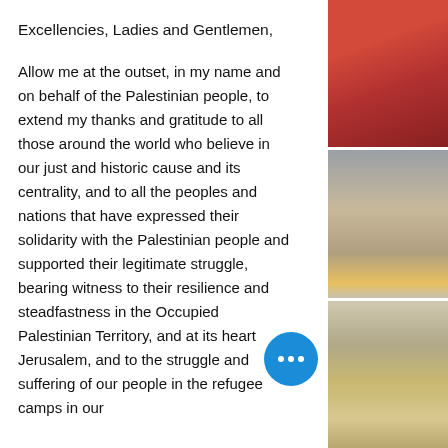Excellencies, Ladies and Gentlemen,
Allow me at the outset, in my name and on behalf of the Palestinian people, to extend my thanks and gratitude to all those around the world who believe in our just and historic cause and its centrality, and to all the peoples and nations that have expressed their solidarity with the Palestinian people and supported their legitimate struggle, bearing witness to their resilience and steadfastness in the Occupied Palestinian Territory, and at its heart Jerusalem, and to the struggle and suffering of our people in the refugee camps in our
[Figure (photo): Three stacked photographs on the right side: top photo shows a reddish-pink wall or door; middle photo shows a city street or old town with stone buildings and vehicles; bottom photo shows desert rocky landscape.]